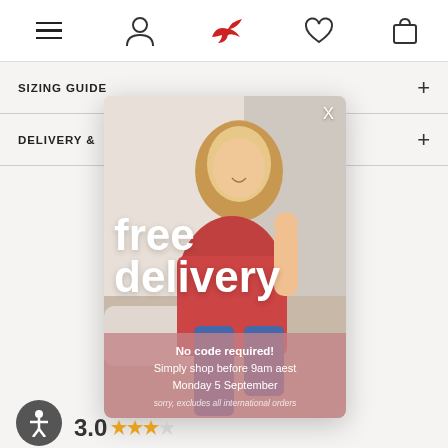[Figure (screenshot): Mobile navigation bar with hamburger menu, user icon, red bird logo, heart icon, and shopping bag icon]
SIZING GUIDE
DELIVERY &
[Figure (photo): Promotional popup modal showing a blonde woman in a red floral outfit sitting on a white couch, with overlay text 'free delivery' and a pink box with details]
No code required! Simply shop before 9am aest Monday 5 September
sorry, excludes all international orders
[Figure (illustration): Accessibility icon (person symbol) in dark circle, and partial star rating showing 3.0 stars]